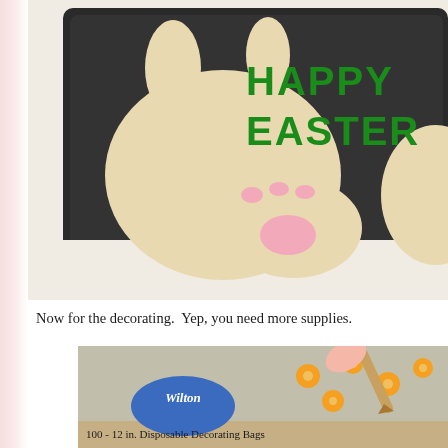[Figure (photo): Easter cookies on a dark baking tray. A large round bunny cookie with 'HAPPY EASTER' written in green frosting, a paw cookie with pink pads, and another partial cookie visible on the right. White table surface visible below the tray.]
Now for the decorating.  Yep, you need more supplies.
[Figure (photo): A Wilton '100 - 12 in. Disposable Decorating Bags' package shown on a craft paper background with small orange flower-shaped decorations and a piping tip/tool being used.]